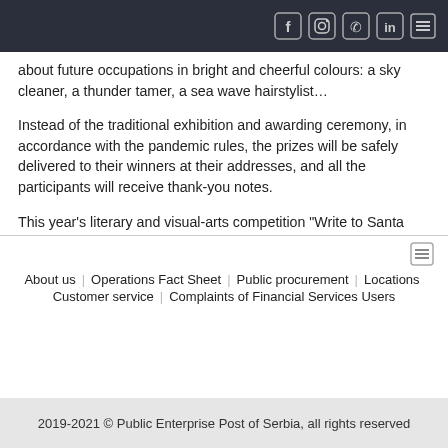[Social icons: Facebook, Instagram, Phone, LinkedIn] [Menu icon]
about future occupations in bright and cheerful colours: a sky cleaner, a thunder tamer, a sea wave hairstylist...
Instead of the traditional exhibition and awarding ceremony, in accordance with the pandemic rules, the prizes will be safely delivered to their winners at their addresses, and all the participants will receive thank-you notes.
This year’s literary and visual-arts competition “Write to Santa Claus”, eighteenth in a row, lasted from 1 November to 5 December 2020, with more than 7,000 kids younger than ten years of age from all over Serbia sending their artworks. By this competition, it is the wish of the Post of Serbia to motivate children’s creativity and nurture the culture of writing and literacy.
About us   Operations Fact Sheet   Public procurement   Locations   Customer service   Complaints of Financial Services Users
2019-2021 © Public Enterprise Post of Serbia, all rights reserved